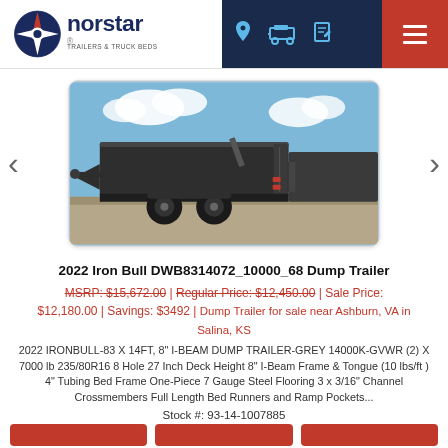[Figure (logo): Norstar logo with compass rose in red, white and blue, company name in dark navy/black]
[Figure (photo): 2022 Iron Bull DWB8314 dump trailer in dark grey/black, low angle shot on gravel with blue sky and clouds]
2022 Iron Bull DWB8314072_10000_68 Dump Trailer
MSRP: $15,672.00 | Regular Price: $12,450.00 | Sale Price: $12,180.00 | Savings: $3492 | Dump Trailer for sale near Ashburn, VA in Salina, KS
2022 IRONBULL-83 X 14FT, 8" I-BEAM DUMP TRAILER-GREY 14000K-GVWR (2) X 7000 lb 235/80R16 8 Hole 27 Inch Deck Height 8" I-Beam Frame & Tongue (10 lbs/ft ) 4" Tubing Bed Frame One-Piece 7 Gauge Steel Flooring 3 x 3/16" Channel Crossmembers Full Length Bed Runners and Ramp Pockets...
Stock #: 93-14-1007885